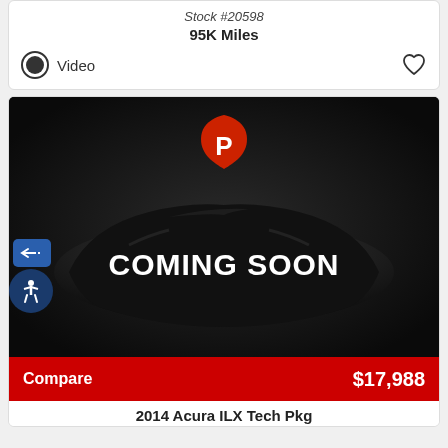Stock #20598
95K Miles
Video
[Figure (photo): Car listing placeholder image showing a dark vehicle covered with a black drape with COMING SOON text and a red shield logo with a P, on a dark background]
Compare
$17,988
2014 Acura ILX Tech Pkg